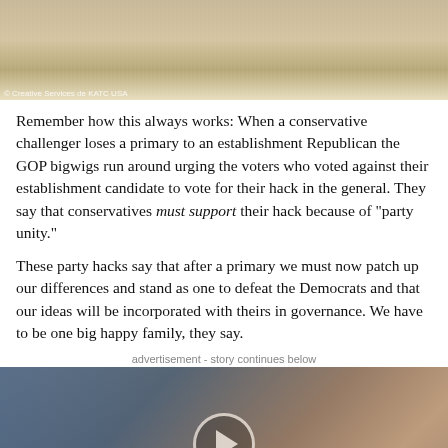[Figure (photo): Top portion of an outdoor photo showing grass and light/dust, with a photo credit watermark in the bottom-left corner]
Remember how this always works: When a conservative challenger loses a primary to an establishment Republican the GOP bigwigs run around urging the voters who voted against their establishment candidate to vote for their hack in the general. They say that conservatives must support their hack because of “party unity.”
These party hacks say that after a primary we must now patch up our differences and stand as one to defeat the Democrats and that our ideas will be incorporated with theirs in governance. We have to be one big happy family, they say.
advertisement - story continues below
[Figure (photo): Photo of a woman with long brown hair (left) and a man with blonde/white hair (right), with a video play button overlay in the center]